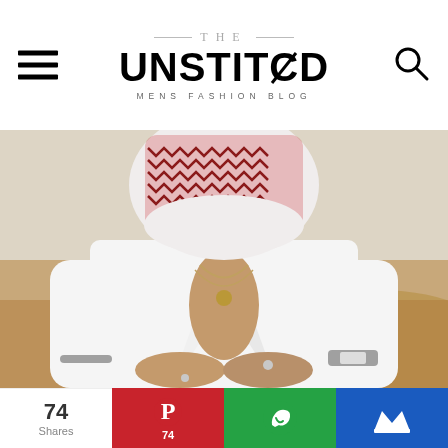THE UNSTITCHED — MENS FASHION BLOG
[Figure (photo): Man wearing a white linen shirt with collar open, layered silver necklaces, rings, watch and bracelet. Face covered with a traditional red and white keffiyeh/ghutra headdress. Desert sand background. Hands clasped in front.]
74 Shares
74 (Pinterest)